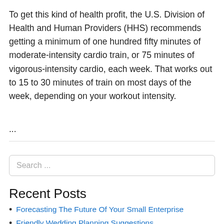To get this kind of health profit, the U.S. Division of Health and Human Providers (HHS) recommends getting a minimum of one hundred fifty minutes of moderate-intensity cardio train, or 75 minutes of vigorous-intensity cardio, each week. That works out to 15 to 30 minutes of train on most days of the week, depending on your workout intensity.
...
Recent Posts
Forecasting The Future Of Your Small Enterprise
Friendly Wedding Planning Suggestions